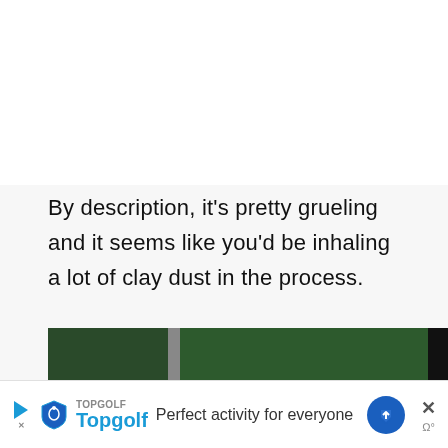By description, it’s pretty grueling and it seems like you’d be inhaling a lot of clay dust in the process.
I’ll stick with the wet method and mu splashing with the kids.
[Figure (screenshot): Share button (circular with share icon)]
[Figure (infographic): What’s Next panel with thumbnail image, label ‘WHAT’S NEXT’ and text ‘How to Plant Garlic in the...’]
[Figure (photo): Partial photo strip showing outdoor/garden scene]
[Figure (screenshot): Advertisement banner for Topgolf: ‘Perfect activity for everyone’ with Topgolf logo, play button, directional arrow icon, and close button]